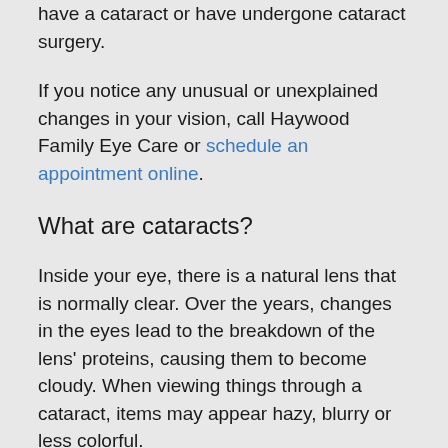have a cataract or have undergone cataract surgery.
If you notice any unusual or unexplained changes in your vision, call Haywood Family Eye Care or schedule an appointment online.
What are cataracts?
Inside your eye, there is a natural lens that is normally clear. Over the years, changes in the eyes lead to the breakdown of the lens' proteins, causing them to become cloudy. When viewing things through a cataract, items may appear hazy, blurry or less colorful.
In general, cataracts develop in both eyes, though not always evenly. Because the cataract in one eye might be more developed than in the other, there could be a marked difference in vision.